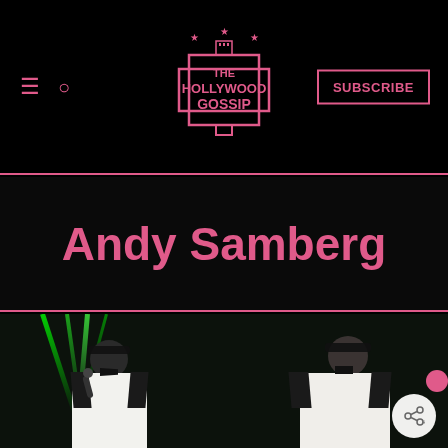The Hollywood Gossip — navigation header with hamburger menu, search icon, logo, and SUBSCRIBE button
Andy Samberg
[Figure (photo): Two men wearing matching white tuxedo jackets with black lapels and bow ties and dark sunglasses, standing on a dark stage with green laser beams in the background. The man on the left is holding a microphone.]